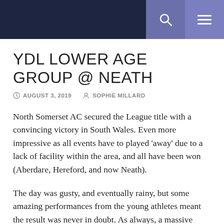YDL LOWER AGE GROUP @ NEATH — navigation header with search and menu icons
YDL LOWER AGE GROUP @ NEATH
AUGUST 3, 2019   SOPHIE MILLARD
North Somerset AC secured the League title with a convincing victory in South Wales. Even more impressive as all events have to played 'away' due to a lack of facility within the area, and all have been won (Aberdare, Hereford, and now Neath).
The day was gusty, and eventually rainy, but some amazing performances from the young athletes meant the result was never in doubt. As always, a massive thank you to Athletes, team managers, officials and parents for their organising, enthusiasm and support. Outstanding!